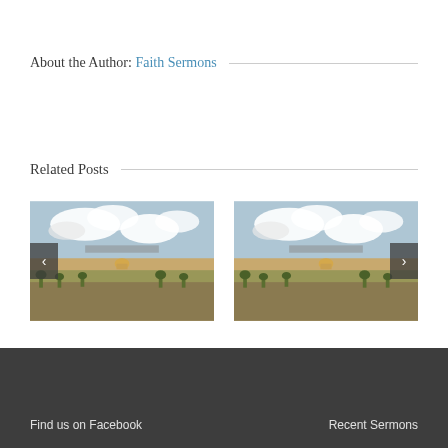About the Author: Faith Sermons
Related Posts
[Figure (photo): Aerial view of Jerusalem cityscape with Dome of the Rock, trees, and cloudy sky]
[Figure (photo): Aerial view of Jerusalem cityscape with Dome of the Rock, trees, and cloudy sky (duplicate)]
Find us on Facebook     Recent Sermons